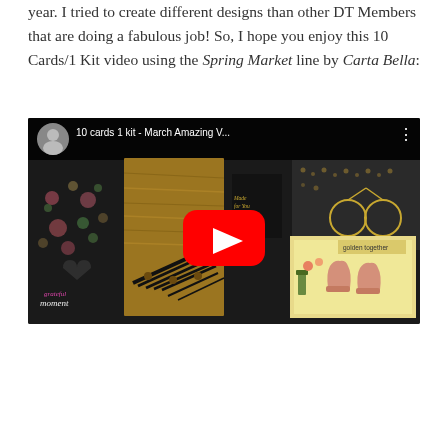year. I tried to create different designs than other DT Members that are doing a fabulous job! So, I hope you enjoy this 10 Cards/1 Kit video using the Spring Market line by Carta Bella:
[Figure (screenshot): YouTube video thumbnail showing '10 cards 1 kit - March Amazing V...' with a profile avatar, play button overlay, and handmade cards displayed including dark floral card, wood/bench card, and yellow card with boots and garden items.]